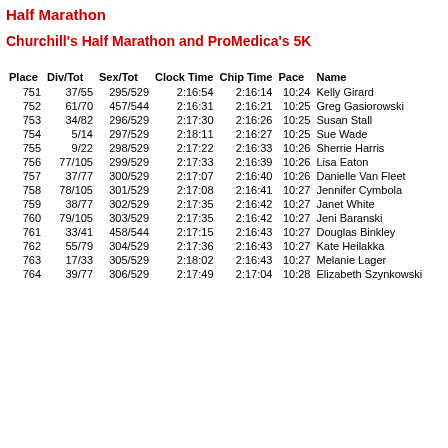Half Marathon
Churchill's Half Marathon and ProMedica's 5K
| Place | Div/Tot | Sex/Tot | Clock Time | Chip Time | Pace | Name | B |
| --- | --- | --- | --- | --- | --- | --- | --- |
| 751 | 37/55 | 295/529 | 2:16:54 | 2:16:14 | 10:24 | Kelly Girard |  |
| 752 | 61/70 | 457/544 | 2:16:31 | 2:16:21 | 10:25 | Greg Gasiorowski |  |
| 753 | 34/82 | 296/529 | 2:17:30 | 2:16:26 | 10:25 | Susan Stall | 1 |
| 754 | 5/14 | 297/529 | 2:18:11 | 2:16:27 | 10:25 | Sue Wade | 1 |
| 755 | 9/22 | 298/529 | 2:17:22 | 2:16:33 | 10:26 | Sherrie Harris |  |
| 756 | 77/105 | 299/529 | 2:17:33 | 2:16:39 | 10:26 | Lisa Eaton |  |
| 757 | 37/77 | 300/529 | 2:17:07 | 2:16:40 | 10:26 | Danielle Van Fleet | 1 |
| 758 | 78/105 | 301/529 | 2:17:08 | 2:16:41 | 10:27 | Jennifer Cymbola |  |
| 759 | 38/77 | 302/529 | 2:17:35 | 2:16:42 | 10:27 | Janet White | 1 |
| 760 | 79/105 | 303/529 | 2:17:35 | 2:16:42 | 10:27 | Jeni Baranski |  |
| 761 | 33/41 | 458/544 | 2:17:15 | 2:16:43 | 10:27 | Douglas Binkley |  |
| 762 | 55/79 | 304/529 | 2:17:36 | 2:16:43 | 10:27 | Kate Heilakka |  |
| 763 | 17/33 | 305/529 | 2:18:02 | 2:16:43 | 10:27 | Melanie Lager |  |
| 764 | 39/77 | 306/529 | 2:17:49 | 2:17:04 | 10:28 | Elizabeth Szynkowski | 1 |